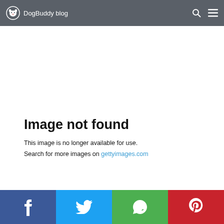DogBuddy blog
Image not found
This image is no longer available for use.
Search for more images on gettyimages.com
Facebook | Twitter | WhatsApp | Pinterest